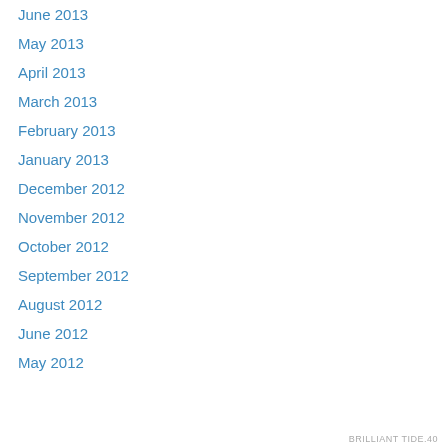June 2013
May 2013
April 2013
March 2013
February 2013
January 2013
December 2012
November 2012
October 2012
September 2012
August 2012
June 2012
May 2012
Privacy & Cookies: This site uses cookies. By continuing to use this website, you agree to their use.
To find out more, including how to control cookies, see here: Cookie Policy
Close and accept